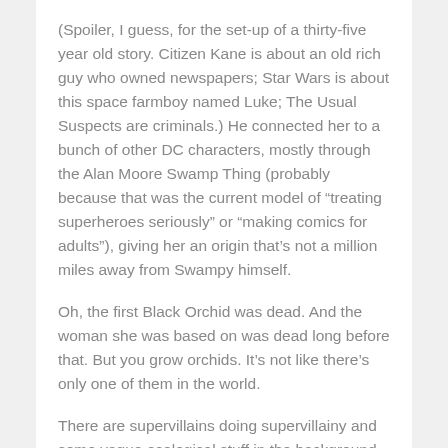(Spoiler, I guess, for the set-up of a thirty-five year old story. Citizen Kane is about an old rich guy who owned newspapers; Star Wars is about this space farmboy named Luke; The Usual Suspects are criminals.) He connected her to a bunch of other DC characters, mostly through the Alan Moore Swamp Thing (probably because that was the current model of “treating superheroes seriously” or “making comics for adults”), giving her an origin that's not a million miles away from Swampy himself.
Oh, the first Black Orchid was dead. And the woman she was based on was dead long before that. But you grow orchids. It’s not like there’s only one of them in the world.
There are supervillains doing supervillainy and some vague ecological stuff in the background, but this is mostly about new Black Orchid trying to figure out who the black orchid was, what the black orchid was, and to...